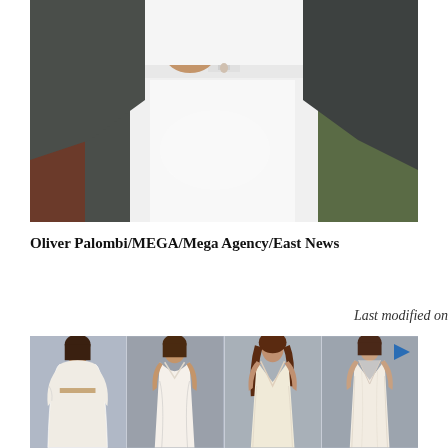[Figure (photo): Close-up photo of a person wearing a white crop top and white high-waisted jeans/shorts with a dark grey/charcoal blazer or cardigan, showing the midsection/waist area. Blurred background.]
Oliver Palombi/MEGA/Mega Agency/East News
Last modified on
[Figure (photo): Advertisement banner showing four women modeling white/ivory lace wedding dresses or formal gowns. A play button icon is visible in the top right corner. The background is a muted blue-grey.]